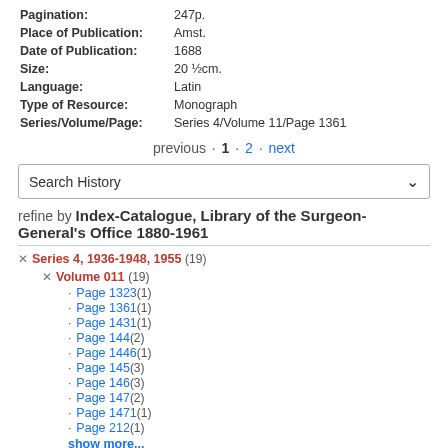| Pagination: | 247p. |
| Place of Publication: | Amst. |
| Date of Publication: | 1688 |
| Size: | 20 ½cm. |
| Language: | Latin |
| Type of Resource: | Monograph |
| Series/Volume/Page: | Series 4/Volume 11/Page 1361 |
previous · 1 · 2 · next
Search History
refine by Index-Catalogue, Library of the Surgeon-General's Office 1880-1961
× Series 4, 1936-1948, 1955 (19)
× Volume 011 (19)
· Page 1323 (1)
· Page 1361 (1)
· Page 1431 (1)
· Page 144 (2)
· Page 1446 (1)
· Page 145 (3)
· Page 146 (3)
· Page 147 (2)
· Page 1471 (1)
· Page 212 (1)
show more...